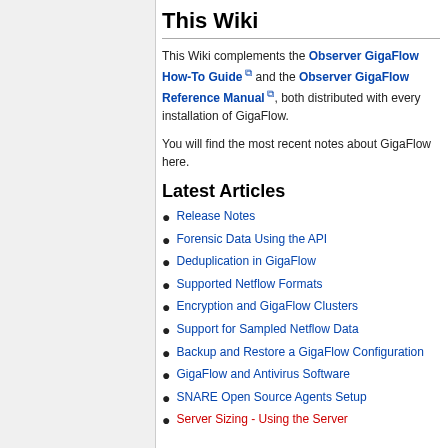This Wiki
This Wiki complements the Observer GigaFlow How-To Guide and the Observer GigaFlow Reference Manual, both distributed with every installation of GigaFlow.
You will find the most recent notes about GigaFlow here.
Latest Articles
Release Notes
Forensic Data Using the API
Deduplication in GigaFlow
Supported Netflow Formats
Encryption and GigaFlow Clusters
Support for Sampled Netflow Data
Backup and Restore a GigaFlow Configuration
GigaFlow and Antivirus Software
SNARE Open Source Agents Setup
Server Sizing - Using the Server